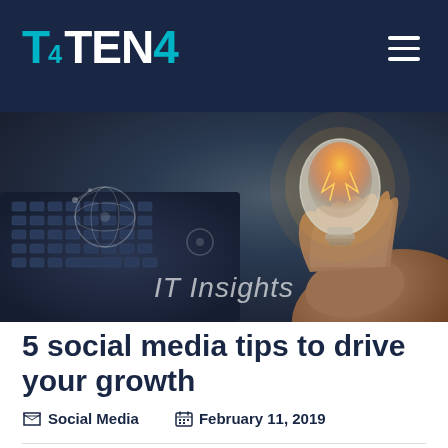T4 TEN4
[Figure (photo): Hero image showing a person holding a glowing lightbulb over a laptop keyboard, with digital network graphics overlaid. Text overlay reads 'IT Insights'.]
5 social media tips to drive your growth
Social Media   February 11, 2019